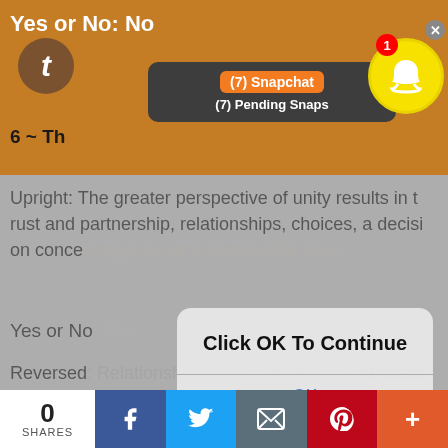Yes or No: No
[Figure (screenshot): Snapchat notification bar showing '(7) Snapchat' and '(7) Pending Snaps' with Snapchat ghost icon and badge showing 1]
6 ~ Th
Upright: The greater perspective of unity results in trust and partnership, relationships, choices, a decision concerning a current relationship, love.
Yes or No: Yes
Reversed: Relationships are strained, communication is hard, feelings in a relationship are not mutual.
Yes or No: No
7 ~ The Chariot
[Figure (screenshot): Modal dialog with bold text 'Click OK To Continue' and a blue 'OK' button below a divider]
0 SHARES [Facebook] [Twitter] [Email] [Pinterest] [More]